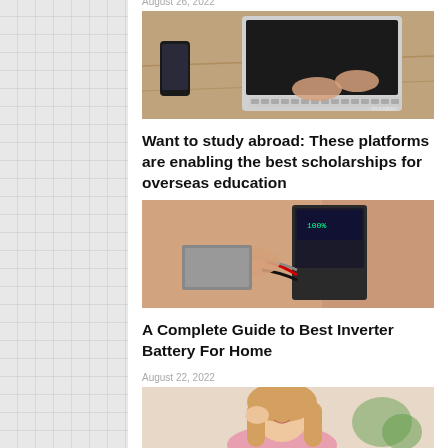August 26, 2022
[Figure (photo): Overhead view of hands typing on a laptop keyboard with a phone on a wooden desk]
Want to study abroad: These platforms are enabling the best scholarships for overseas education
[Figure (photo): Person touching wiring or components on a wall-mounted inverter/battery unit]
A Complete Guide to Best Inverter Battery For Home
August 22, 2022
[Figure (photo): Young woman with long blonde hair smiling, holding hand near face, with plant in background]